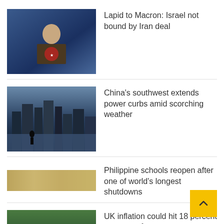[Figure (photo): Person at podium with red emblem background]
Lapid to Macron: Israel not bound by Iran deal
[Figure (photo): City skyline with hazy sky and person silhouette near water]
China's southwest extends power curbs amid scorching weather
[Figure (photo): Small thumbnail image, unclear scene]
Philippine schools reopen after one of world's longest shutdowns
[Figure (photo): Person in a grocery store produce section]
UK inflation could hit 18 percent next year, forecasts